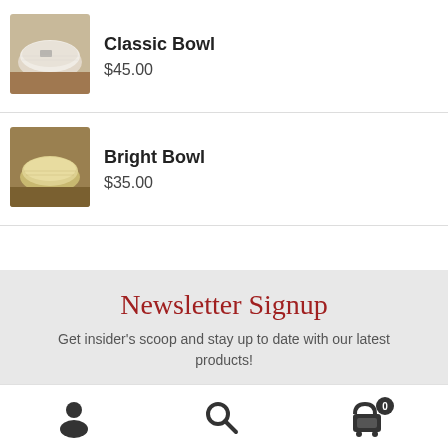[Figure (photo): Photo of a white/cream textured ceramic Classic Bowl on a wooden surface]
Classic Bowl
$45.00
[Figure (photo): Photo of a light yellow/cream textured ceramic Bright Bowl on a wooden surface]
Bright Bowl
$35.00
Newsletter Signup
Get insider's scoop and stay up to date with our latest products!
[Figure (infographic): Bottom navigation bar with user/account icon, search icon, and shopping cart icon with badge showing 0]